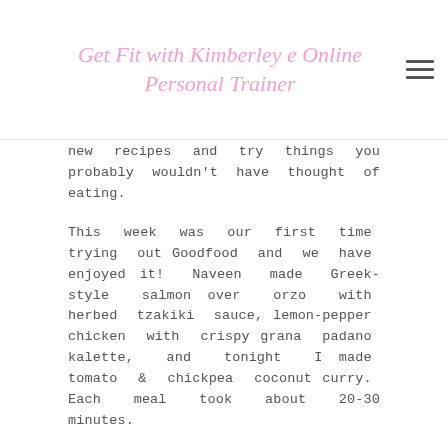Get Fit with Kimberley e Online Personal Trainer
new recipes and try things you probably wouldn't have thought of eating.
This week was our first time trying out Goodfood and we have enjoyed it! Naveen made Greek-style salmon over orzo with herbed tzakiki sauce, lemon-pepper chicken with crispy grana padano kalette, and tonight I made tomato & chickpea coconut curry. Each meal took about 20-30 minutes.